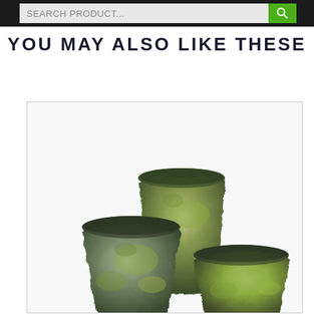SEARCH PRODUCT...
YOU MAY ALSO LIKE THESE
[Figure (photo): Three weathered stone-look planters/pots of varying sizes arranged together. The pots have a mossy, aged texture with green and grey tones. The tallest pot is in the center-back, a medium pot is on the left, and a shorter wider pot is on the right-front.]